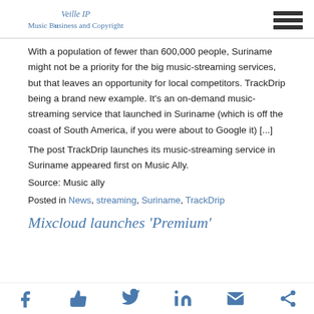Veille IP
Music Business and Copyright
With a population of fewer than 600,000 people, Suriname might not be a priority for the big music-streaming services, but that leaves an opportunity for local competitors. TrackDrip being a brand new example. It's an on-demand music-streaming service that launched in Suriname (which is off the coast of South America, if you were about to Google it) [...]
The post TrackDrip launches its music-streaming service in Suriname appeared first on Music Ally.
Source: Music ally
Posted in News, streaming, Suriname, TrackDrip
Mixcloud launches 'Premium'
f  thumbs-up  twitter  in  mail  share